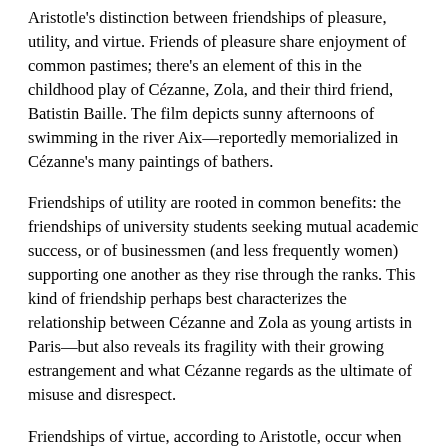Aristotle's distinction between friendships of pleasure, utility, and virtue. Friends of pleasure share enjoyment of common pastimes; there's an element of this in the childhood play of Cézanne, Zola, and their third friend, Batistin Baille. The film depicts sunny afternoons of swimming in the river Aix—reportedly memorialized in Cézanne's many paintings of bathers.
Friendships of utility are rooted in common benefits: the friendships of university students seeking mutual academic success, or of businessmen (and less frequently women) supporting one another as they rise through the ranks. This kind of friendship perhaps best characterizes the relationship between Cézanne and Zola as young artists in Paris—but also reveals its fragility with their growing estrangement and what Cézanne regards as the ultimate of misuse and disrespect.
Friendships of virtue, according to Aristotle, occur when friends admire each other for their characters. In Cézanne et Moi, one can also see the risks of this type of friendship: as Cézanne becomes increasingly